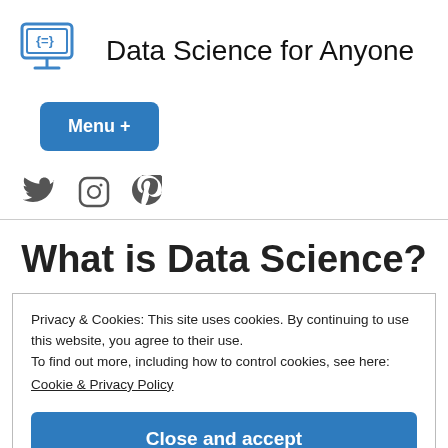Data Science for Anyone
[Figure (logo): Computer monitor icon with code brackets, blue outline style]
Menu +
[Figure (illustration): Social media icons: Twitter bird, Instagram camera circle, Pinterest P]
What is Data Science?
Privacy & Cookies: This site uses cookies. By continuing to use this website, you agree to their use.
To find out more, including how to control cookies, see here:
Cookie & Privacy Policy
Close and accept